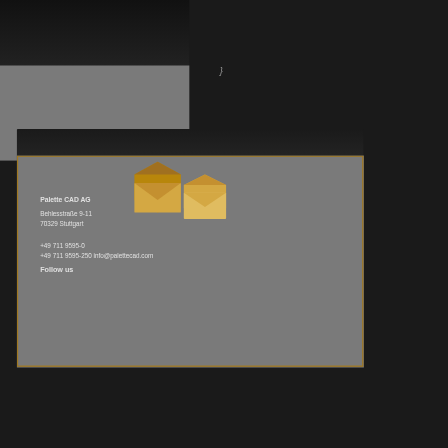[Figure (illustration): Two overlapping hexagonal envelope icons in gold/amber color, positioned at the boundary between a black bar and a gold-bordered gray contact box]
Palette CAD AG
Behlesstraße 9-11
70329 Stuttgart
+49 711 9595-0
+49 711 9595-250 info@palettecad.com
Follow us